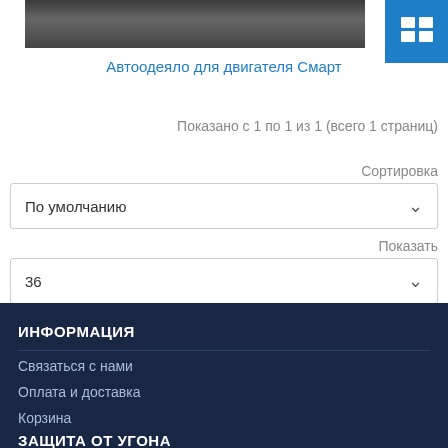[Figure (photo): Partial car image cropped at top of page]
Автоодеяло для двигателя Смарт
Показано с 1 по 1 из 1 (всего 1 страниц)
Сортировка
По умолчанию
Показать
36
ИНФОРМАЦИЯ
Связаться с нами
Оплата и доставка
Корзина
ЗАЩИТА ОТ УГОНА